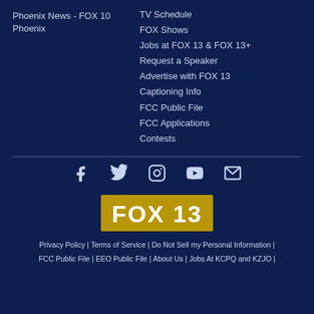Phoenix News - FOX 10 Phoenix
TV Schedule
FOX Shows
Jobs at FOX 13 & FOX 13+
Request a Speaker
Advertise with FOX 13
Captioning Info
FCC Public File
FCC Applications
Contests
[Figure (infographic): Social media icons row: Facebook, Twitter, Instagram, YouTube, Email]
[Figure (logo): FOX 13 logo in white bold text on gold/yellow background]
Privacy Policy | Terms of Service | Do Not Sell my Personal Information | FCC Public File | EEO Public File | About Us | Jobs At KCPQ and KZJO |